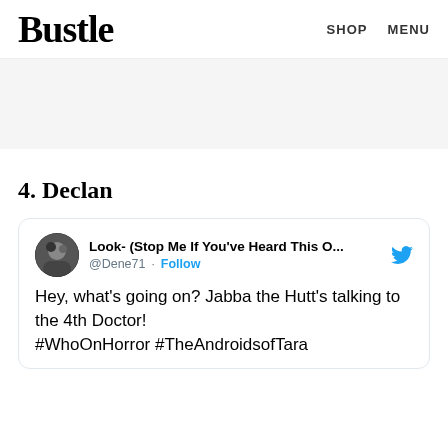Bustle  SHOP  MENU
[Figure (other): Gray advertisement banner area]
4. Declan
Look- (Stop Me If You've Heard This O... @Dene71 · Follow
Hey, what's going on? Jabba the Hutt's talking to the 4th Doctor! #WhoOnHorror #TheAndroidsofTara